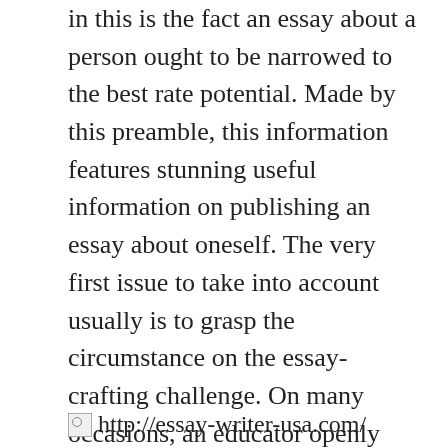in this is the fact an essay about a person ought to be narrowed to the best rate potential. Made by this preamble, this information features stunning useful information on publishing an essay about oneself. The very first issue to take into account usually is to grasp the circumstance on the essay-crafting challenge. On many occasions, an educator openly asks students to create essays about their selves upon educating article writing knowledge. As an illustration, the teacher could possibly have used a handful of coaching educating about sentences along with their organization within the essay.
http://essay-writer-usa.com/